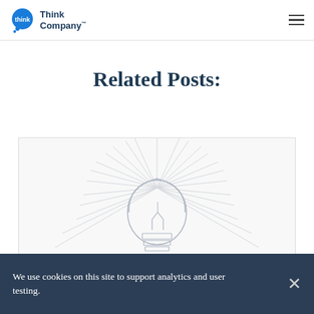Think Company
Related Posts:
[Figure (illustration): Line drawing illustration of a light bulb with radiating lines suggesting illumination or ideas, rendered in light gray sketch style on white background]
We use cookies on this site to support analytics and user testing.